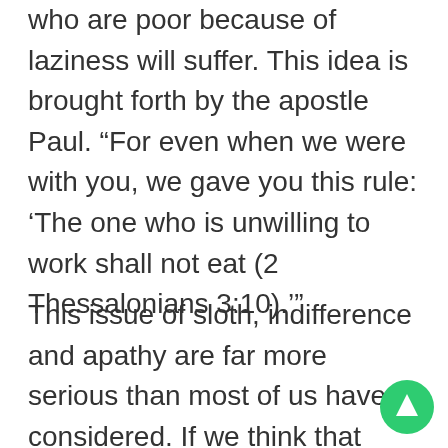who are poor because of laziness will suffer. This idea is brought forth by the apostle Paul. “For even when we were with you, we gave you this rule: ‘The one who is unwilling to work shall not eat (2 Thessalonians 3:10).’”
This issue of sloth, indifference and apathy are far more serious than most of us have considered. If we think that laziness is a minor element, Jesus reserved some of his most